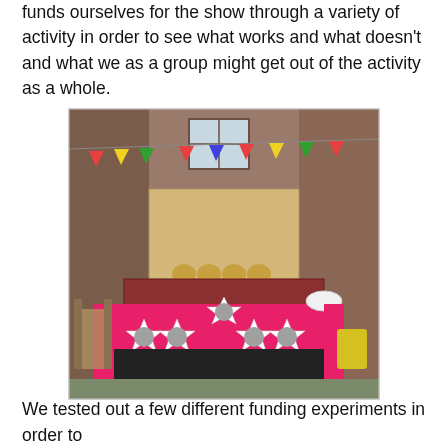funds ourselves for the show through a variety of activity in order to see what works and what doesn't and what we as a group might get out of the activity as a whole.
[Figure (photo): Outdoor carnival/funfair stall with a bright pink tablecloth, decorated with star-shaped cutouts featuring portrait photos of people. Behind the table is a wooden box structure with coconut cups on top. Colourful bunting is strung above in the background courtyard with brick walls.]
We tested out a few different funding experiments in order to